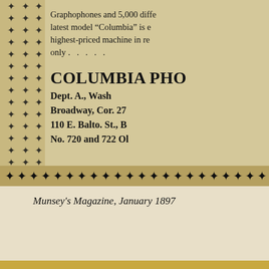Graphophones and 5,000 different latest model "Columbia" is e highest-priced machine in re only.
COLUMBIA PHO
Dept. A., Wash Broadway, Cor. 27 110 E. Balto. St., B No. 720 and 722 Ol
Munsey's Magazine, January 1897